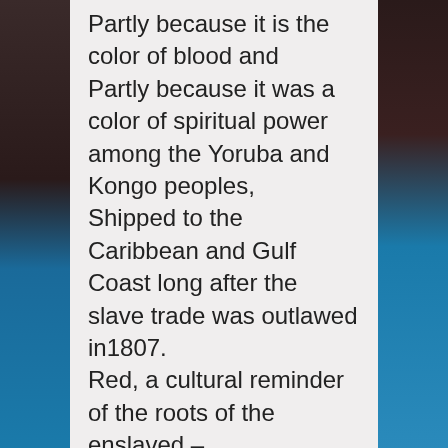Partly because it is the color of blood and Partly because it was a color of spiritual power among the Yoruba and Kongo peoples, Shipped to the Caribbean and Gulf Coast long after the slave trade was outlawed in1807. Red, a cultural reminder of the roots of the enslaved – Barbecued ribs in red sauce, Red velvet cake, red beans and rice, lemonade with fresh strawberries, strawberry soda bottled and shipped from Milwaukee